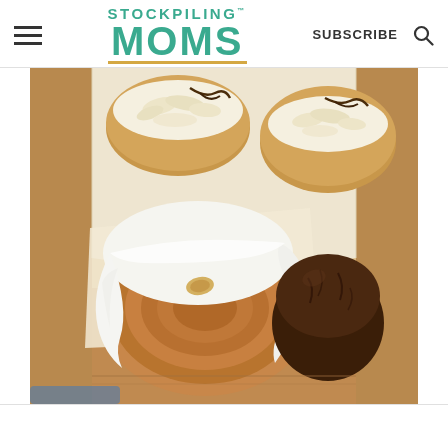Stockpiling Moms — SUBSCRIBE
[Figure (photo): A brown paper bag open at the top containing baked goods: a cinnamon roll with white cream cheese frosting, two coconut-topped pastries with chocolate drizzle, and a round chocolate muffin, all resting on parchment paper.]